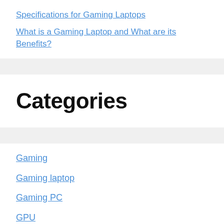Specifications for Gaming Laptops
What is a Gaming Laptop and What are its Benefits?
Categories
Gaming
Gaming laptop
Gaming PC
GPU
PS5